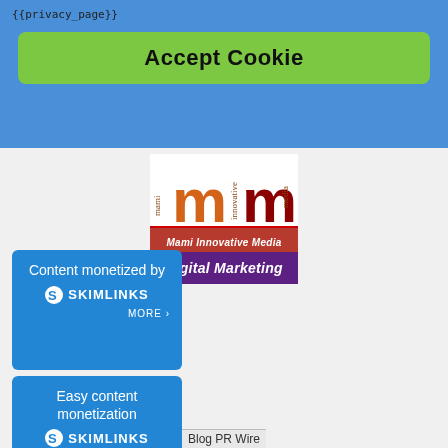{{privacy_page}}
Accept Cookie
[Figure (logo): Mami Innovative Media Digital Marketing logo with two orange/red 'm' letters, red banner 'Mami Innovative Media', purple banner 'Digital Marketing']
[Figure (infographic): Blue box: 'Content monetized by SKIMLINKS MORE >']
[Figure (infographic): Blue box: 'Easy content monetization SKIMLINKS MORE >']
Blog PR Wire